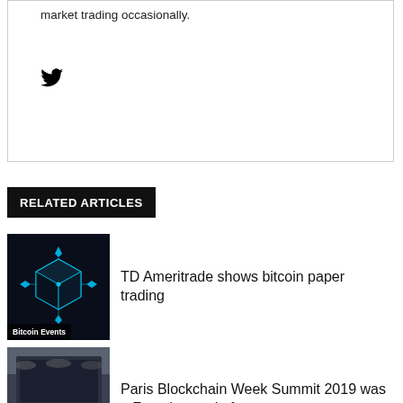market trading occasionally.
[Figure (illustration): Twitter bird icon]
RELATED ARTICLES
[Figure (photo): Blockchain cube graphic on dark background]
TD Ameritrade shows bitcoin paper trading
Bitcoin Events
[Figure (photo): Conference stage with Bitcoin Events sign]
Paris Blockchain Week Summit 2019 was a French tour de force
Bitcoin Events
[Figure (photo): Crypto coins including Bitcoin and Ethereum]
Weiss Crypto Ratings founder believes blockchain networks will replace legacy systems
Bitcoin News